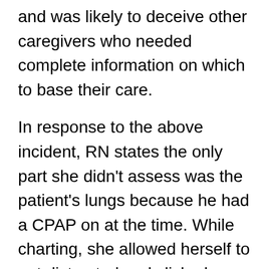and was likely to deceive other caregivers who needed complete information on which to base their care.
In response to the above incident, RN states the only part she didn't assess was the patient's lungs because he had a CPAP on at the time. While charting, she allowed herself to get distracted and clicked “clear” in the lung area, and didn't realize she was in the wrong column. RN states she was told she falsely documented and documented in the wrong area because she charted in the column of 1833 and didn't clock in until 1834.